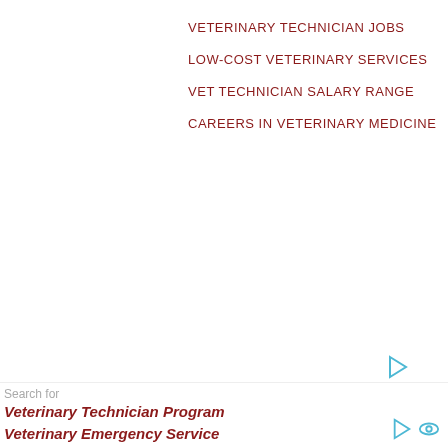VETERINARY TECHNICIAN JOBS
LOW-COST VETERINARY SERVICES
VET TECHNICIAN SALARY RANGE
CAREERS IN VETERINARY MEDICINE
51:-The maximum permissible limit of fluorine in drinking water is
A:-150 ppm
B:-1500 ppm
C:-15.0 ppm
D:-1.5 ppm
Ans: D
Search for
Veterinary Technician Program
Veterinary Emergency Service